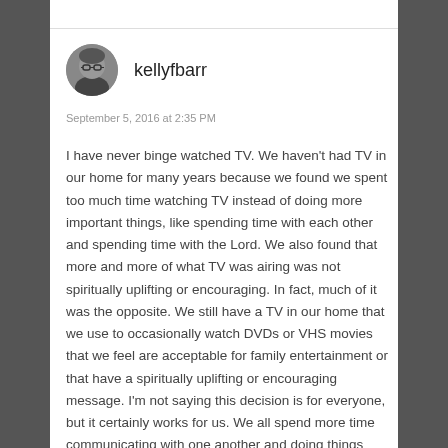[Figure (photo): Circular avatar photo of a person wearing glasses, dark background]
kellyfbarr
September 5, 2016 at 2:35 PM
I have never binge watched TV. We haven't had TV in our home for many years because we found we spent too much time watching TV instead of doing more important things, like spending time with each other and spending time with the Lord. We also found that more and more of what TV was airing was not spiritually uplifting or encouraging. In fact, much of it was the opposite. We still have a TV in our home that we use to occasionally watch DVDs or VHS movies that we feel are acceptable for family entertainment or that have a spiritually uplifting or encouraging message. I'm not saying this decision is for everyone, but it certainly works for us. We all spend more time communicating with one another and doing things together, and most of us read lots of good books. We also find it easier to